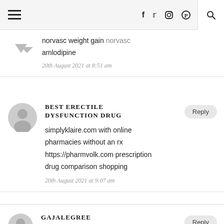≡  f  🐦  📷  𝙿  🔍
norvasc weight gain norvasc amlodipine
20th August 2021 at 8:51 am
BEST ERECTILE DYSFUNCTION DRUG
simplyklaire.com with online pharmacies without an rx https://pharmvolk.com prescription drug comparison shopping
20th August 2021 at 9:07 am
GAJALEGREE